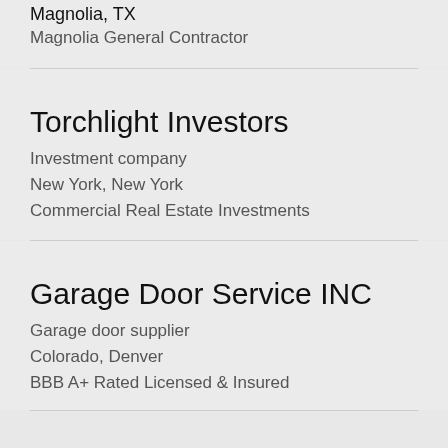Magnolia, TX
Magnolia General Contractor
Torchlight Investors
Investment company
New York, New York
Commercial Real Estate Investments
Garage Door Service INC
Garage door supplier
Colorado, Denver
BBB A+ Rated Licensed & Insured